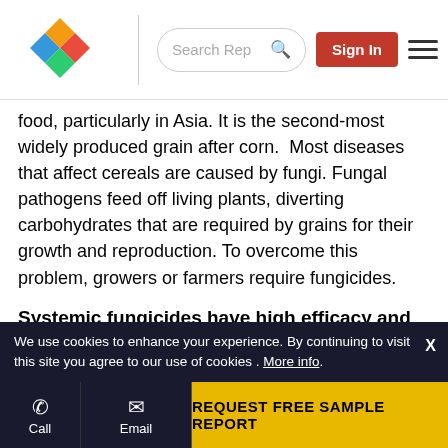Search Rep | Sign In
food, particularly in Asia. It is the second-most widely produced grain after corn.  Most diseases that affect cereals are caused by fungi. Fungal pathogens feed off living plants, diverting carbohydrates that are required by grains for their growth and reproduction. To overcome this problem, growers or farmers require fungicides.
Systemic fungicides have high efficacy and can be used as both eradicant and protectant
Based on mode of action, fungicides are categorized as systemic fungicides and contact fungicides. Systemic on entry into the crop plant, can move to a certain extent
We use cookies to enhance your experience. By continuing to visit this site you agree to our use of cookies . More info.
REQUEST FREE SAMPLE REPORT | Call | Email